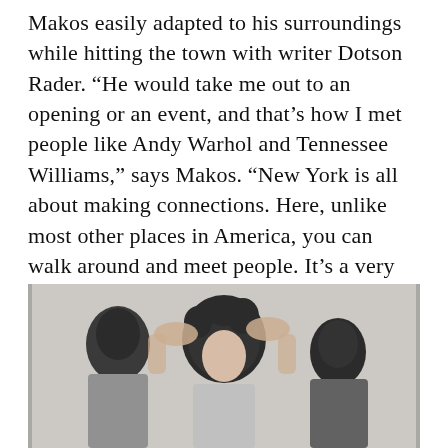Makos easily adapted to his surroundings while hitting the town with writer Dotson Rader. “He would take me out to an opening or an event, and that’s how I met people like Andy Warhol and Tennessee Williams,” says Makos. “New York is all about making connections. Here, unlike most other places in America, you can walk around and meet people. It’s a very intimate experience in Manhattan, and I ended up creating my own world. Consequently, being a photographer, taking pictures is the language I used to tell my story.”
[Figure (photo): Black and white photograph showing three people, two on the sides with dark hair and one in the center with curly dark hair, hands raised near their heads, appearing to be at a social event or party.]